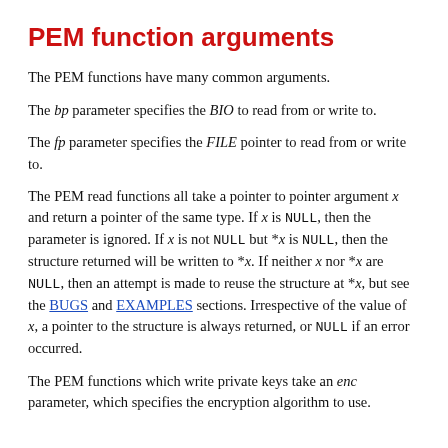PEM function arguments
The PEM functions have many common arguments.
The bp parameter specifies the BIO to read from or write to.
The fp parameter specifies the FILE pointer to read from or write to.
The PEM read functions all take a pointer to pointer argument x and return a pointer of the same type. If x is NULL, then the parameter is ignored. If x is not NULL but *x is NULL, then the structure returned will be written to *x. If neither x nor *x are NULL, then an attempt is made to reuse the structure at *x, but see the BUGS and EXAMPLES sections. Irrespective of the value of x, a pointer to the structure is always returned, or NULL if an error occurred.
The PEM functions which write private keys take an enc parameter, which specifies the encryption algorithm to use.